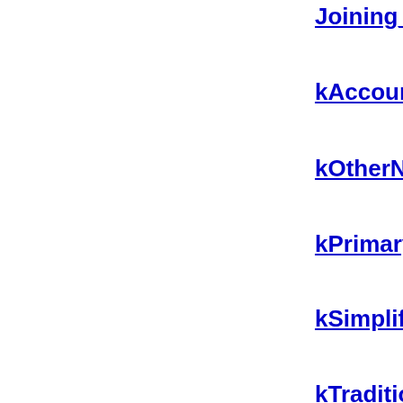Joining_Group
kAccountingNume
kOtherNumeric
kPrimaryNumeric
kSimplifiedVarian
kTraditionalVaria
Lead_Canonical_C
Logical_Order_Ex
Lowercase
Lowercase_Mappi
Math
Name_Alias
Named_Sequences
Named_Sequences
NFC_Inert
NFC_Quick_Chec
NFD_Inert
NFD_Quick_Chec
NFKC_Casefold
NFKC_Inert
NFKC_Quick_Ch
NFKD_...